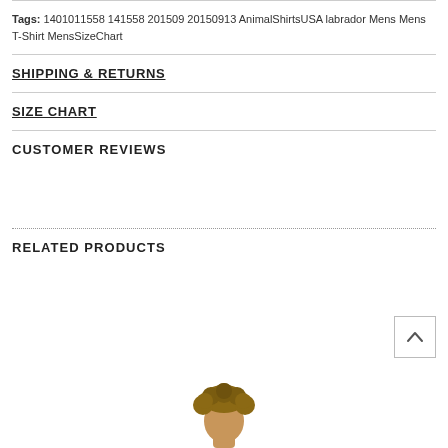Tags: 1401011558 141558 201509 20150913 AnimalShirtsUSA labrador Mens Mens T-Shirt MensSizeChart
SHIPPING & RETURNS
SIZE CHART
CUSTOMER REVIEWS
RELATED PRODUCTS
[Figure (photo): Partial view of a person's head with curly brown hair, cropped at bottom of page, related product image]